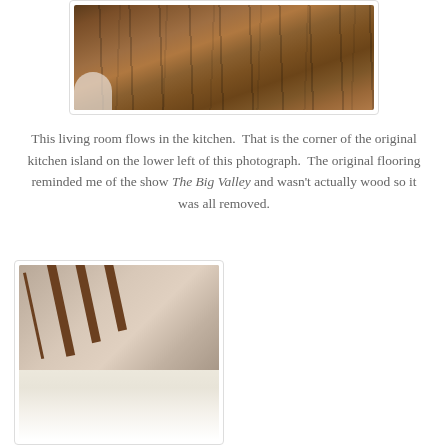[Figure (photo): Close-up photograph of wood-look flooring planks showing a rustic, weathered appearance. A white rounded object (corner of kitchen island) is visible in the lower left.]
This living room flows in the kitchen.  That is the corner of the original kitchen island on the lower left of this photograph.  The original flooring reminded me of the show The Big Valley and wasn't actually wood so it was all removed.
[Figure (photo): Interior photograph of a room showing vaulted ceiling with dark wood beam trim, recessed lighting, cream/white walls, windows on the left side with exterior greenery visible, and what appears to be a white appliance on the right side.]